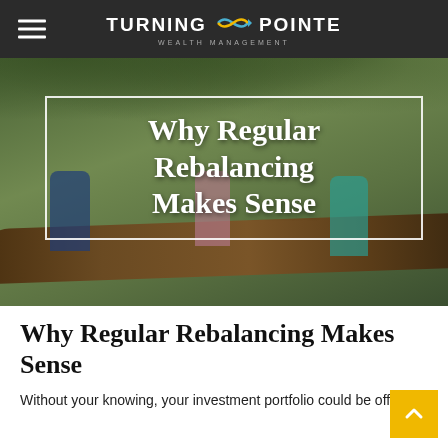Turning Pointe Wealth Management
[Figure (photo): Three children balancing on a large tree branch outdoors, with trees in the background. A white-bordered text overlay reads 'Why Regular Rebalancing Makes Sense' in bold white serif type.]
Why Regular Rebalancing Makes Sense
Without your knowing, your investment portfolio could be off-kilter.